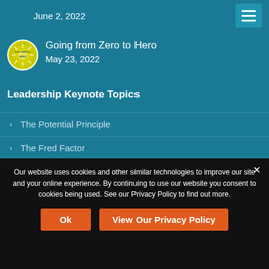June 2, 2022
[Figure (logo): Circular logo with sun/star design and text 'from ZERO to' on yellow/green background]
Going from Zero to Hero
May 23, 2022
Leadership Keynote Topics
The Potential Principle
The Fred Factor
You Don't Need a Title...
Our website uses cookies and other similar technologies to improve our site and your online experience. By continuing to use our website you consent to cookies being used. See our Privacy Policy to find out more.
Ok
View Our Privacy Policy